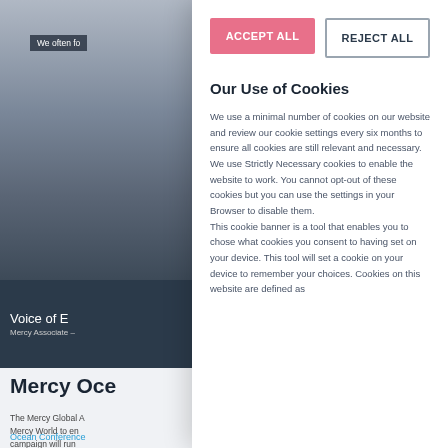[Figure (screenshot): Website screenshot showing a partially visible image with text 'We often fo' in a dark badge, and 'Voice of E' title with 'Mercy Associate –' subtitle on a dark background]
Mercy Oce
The Mercy Global A... Mercy World to en... campaign will run...
Ocean Conference
ACCEPT ALL
REJECT ALL
Our Use of Cookies
We use a minimal number of cookies on our website and review our cookie settings every six months to ensure all cookies are still relevant and necessary. We use Strictly Necessary cookies to enable the website to work. You cannot opt-out of these cookies but you can use the settings in your Browser to disable them. This cookie banner is a tool that enables you to chose what cookies you consent to having set on your device. This tool will set a cookie on your device to remember your choices. Cookies on this website are defined as